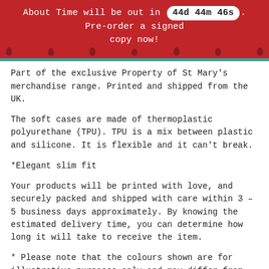About Time will be out in 44d 44m 46s. Pre-order a signed copy now!
Part of the exclusive Property of St Mary's merchandise range. Printed and shipped from the UK.
The soft cases are made of thermoplastic polyurethane (TPU). TPU is a mix between plastic and silicone. It is flexible and it can't break.
*Elegant slim fit
Your products will be printed with love, and securely packed and shipped with care within 3 – 5 business days approximately. By knowing the estimated delivery time, you can determine how long it will take to receive the item.
* Please note that the colours shown are for illustrative purposes only and may differ from actual product colours